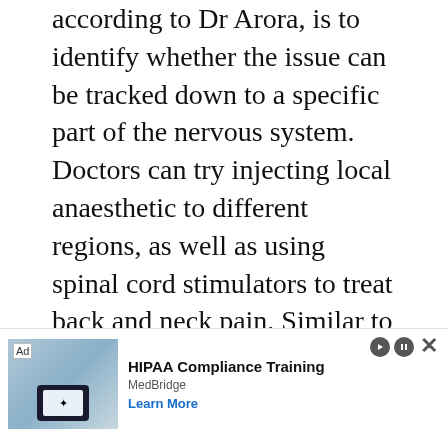according to Dr Arora, is to identify whether the issue can be tracked down to a specific part of the nervous system. Doctors can try injecting local anaesthetic to different regions, as well as using spinal cord stimulators to treat back and neck pain. Similar to the treatment for phantom limb pain, this can help retrain nerves to function more normally and therefore cause less pain.

Often, though, you can rule out both tissue damage and over-sensitive neural pathways as lo th
[Figure (other): Advertisement overlay: HIPAA Compliance Training by MedBridge with a 'Learn More' link and ad controls (play, close buttons).]